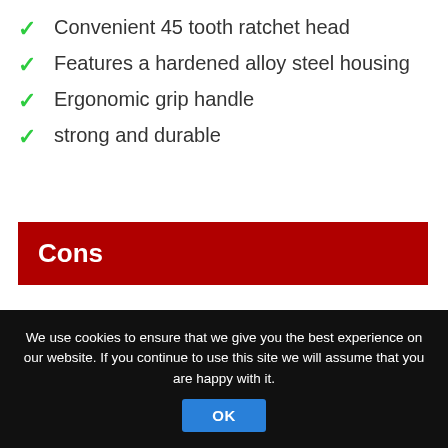Convenient 45 tooth ratchet head
Features a hardened alloy steel housing
Ergonomic grip handle
strong and durable
Cons
Not the most reliable choice for tight spaces
We use cookies to ensure that we give you the best experience on our website. If you continue to use this site we will assume that you are happy with it.